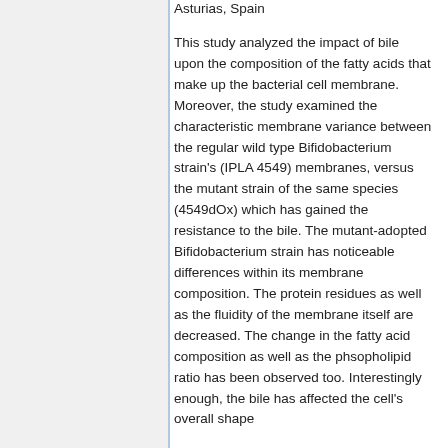Asturias, Spain
This study analyzed the impact of bile upon the composition of the fatty acids that make up the bacterial cell membrane. Moreover, the study examined the characteristic membrane variance between the regular wild type Bifidobacterium strain's (IPLA 4549) membranes, versus the mutant strain of the same species (4549dOx) which has gained the resistance to the bile. The mutant-adopted Bifidobacterium strain has noticeable differences within its membrane composition. The protein residues as well as the fluidity of the membrane itself are decreased. The change in the fatty acid composition as well as the phsopholipid ratio has been observed too. Interestingly enough, the bile has affected the cell's overall shape